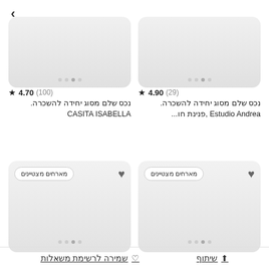[Figure (screenshot): Navigation arrow pointing right]
[Figure (screenshot): Top-left property card (cropped) with image carousel dots]
[Figure (screenshot): Top-right property card (cropped) with image carousel dots]
★ 4.70 (100)
נכס שלם מסוג יחידה להשכרה.
CASITA ISABELLA
★ 4.90 (29)
נכס שלם מסוג יחידה להשכרה.
Estudio Andrea ,פנינת חו...
[Figure (screenshot): Bottom-left property card with heart icon and 'מארחים מצטיינים' badge and carousel dots]
[Figure (screenshot): Bottom-right property card with heart icon and 'מארחים מצטיינים' badge and carousel dots]
שיתוף
שמירה לרשימת משאלות